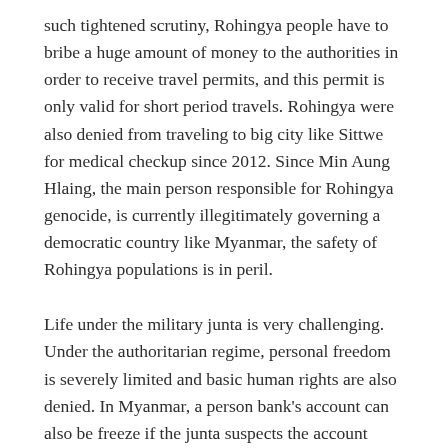such tightened scrutiny, Rohingya people have to bribe a huge amount of money to the authorities in order to receive travel permits, and this permit is only valid for short period travels. Rohingya were also denied from traveling to big city like Sittwe for medical checkup since 2012. Since Min Aung Hlaing, the main person responsible for Rohingya genocide, is currently illegitimately governing a democratic country like Myanmar, the safety of Rohingya populations is in peril.
Life under the military junta is very challenging. Under the authoritarian regime, personal freedom is severely limited and basic human rights are also denied. In Myanmar, a person bank's account can also be freeze if the junta suspects the account owner of supporting People's Defense Forces (PDFs) and Civil Disobedience Movement (CDM). MIR Now reported today that the Central Bank of Myanmar